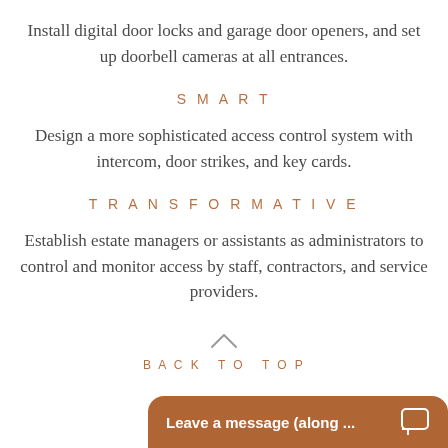Install digital door locks and garage door openers, and set up doorbell cameras at all entrances.
SMART
Design a more sophisticated access control system with intercom, door strikes, and key cards.
TRANSFORMATIVE
Establish estate managers or assistants as administrators to control and monitor access by staff, contractors, and service providers.
BACK TO TOP
Leave a message (along ...